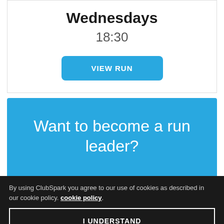Wednesdays
18:30
VIEW RUN
Want to become a run leader?
By using ClubSpark you agree to our use of cookies as described in our cookie policy. cookie policy.
I UNDERSTAND